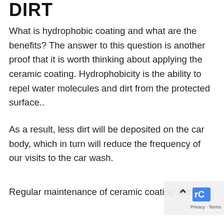DIRT
What is hydrophobic coating and what are the benefits? The answer to this question is another proof that it is worth thinking about applying the ceramic coating. Hydrophobicity is the ability to repel water molecules and dirt from the protected surface..
As a result, less dirt will be deposited on the car body, which in turn will reduce the frequency of our visits to the car wash.
Regular maintenance of ceramic coating with K2...